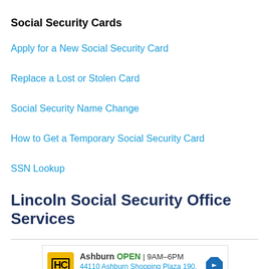Social Security Cards
Apply for a New Social Security Card
Replace a Lost or Stolen Card
Social Security Name Change
How to Get a Temporary Social Security Card
SSN Lookup
Lincoln Social Security Office Services
[Figure (infographic): Advertisement box showing HC logo, Ashburn location listed as OPEN 9AM-6PM, address 44110 Ashburn Shopping Plaza 190, with navigation arrow icon and ad controls (play and close buttons)]